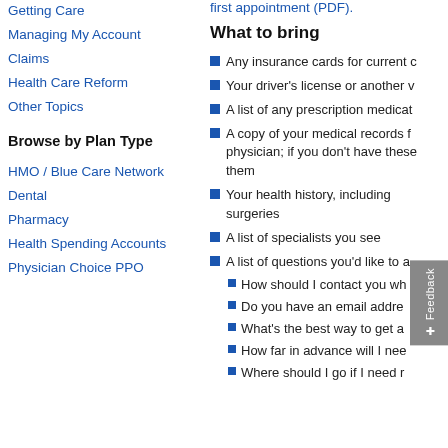Getting Care
Managing My Account
Claims
Health Care Reform
Other Topics
Browse by Plan Type
HMO / Blue Care Network
Dental
Pharmacy
Health Spending Accounts
Physician Choice PPO
first appointment (PDF).
What to bring
Any insurance cards for current c
Your driver's license or another v
A list of any prescription medicat
A copy of your medical records f physician; if you don't have these them
Your health history, including surgeries
A list of specialists you see
A list of questions you'd like to a
How should I contact you wh
Do you have an email addre
What's the best way to get a
How far in advance will I nee
Where should I go if I need r